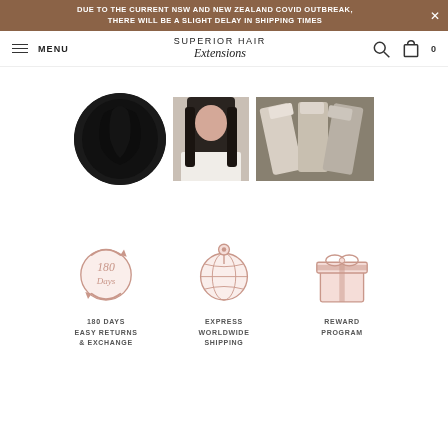DUE TO THE CURRENT NSW AND NEW ZEALAND COVID OUTBREAK, THERE WILL BE A SLIGHT DELAY IN SHIPPING TIMES
[Figure (screenshot): Navigation bar with hamburger menu, MENU text, Superior Hair Extensions logo, search icon, and cart icon showing 0 items]
[Figure (photo): Three product images: a circular swatch of black hair extensions, a woman with dark long hair wearing white, and tape-in hair extension pieces on a dark background]
[Figure (infographic): Three icons: 180 Days circle with arrows (180 DAYS EASY RETURNS & EXCHANGE), globe with location pin (EXPRESS WORLDWIDE SHIPPING), gift box (REWARD PROGRAM)]
180 DAYS EASY RETURNS & EXCHANGE
EXPRESS WORLDWIDE SHIPPING
REWARD PROGRAM